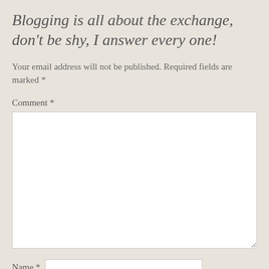Blogging is all about the exchange, don't be shy, I answer every one!
Your email address will not be published. Required fields are marked *
Comment *
Name *